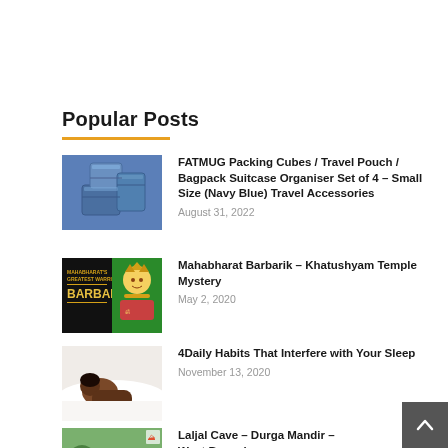Popular Posts
[Figure (photo): Blue packing cubes / travel pouches stacked together]
FATMUG Packing Cubes / Travel Pouch / Bagpack Suitcase Organiser Set of 4 – Small Size (Navy Blue) Travel Accessories
August 31, 2022
[Figure (photo): Mahabharat Barbaric – Khatushyam composite image with text on black background and a deity figure]
Mahabharat Barbarik – Khatushyam Temple Mystery
May 2, 2020
[Figure (photo): Person sleeping on white pillow and bed]
4Daily Habits That Interfere with Your Sleep
November 13, 2020
[Figure (photo): Laljal Cave entrance with greenery]
Laljal Cave – Durga Mandir – West Bengal